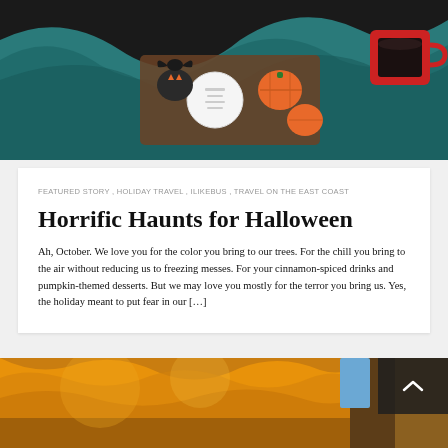[Figure (photo): Halloween-themed cookies and treats on a teal fabric background with a red mug — ghost cookie, pumpkin cookies, bat decoration on a wooden board.]
FEATURED STORY , HOLIDAY TRAVEL , ILIKEBUS , TRAVEL ON THE EAST COAST
Horrific Haunts for Halloween
Ah, October. We love you for the color you bring to our trees. For the chill you bring to the air without reducing us to freezing messes. For your cinnamon-spiced drinks and pumpkin-themed desserts. But we may love you mostly for the terror you bring us. Yes, the holiday meant to put fear in our […]
[Figure (photo): Autumn tree canopy from below showing golden orange leaves against a blue sky, with a dark tree trunk on the right.]